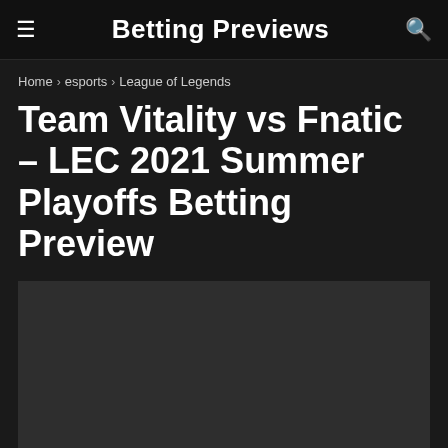Betting Previews
Home > esports > League of Legends
Team Vitality vs Fnatic – LEC 2021 Summer Playoffs Betting Preview
[Figure (photo): Dark placeholder image area below the article title]